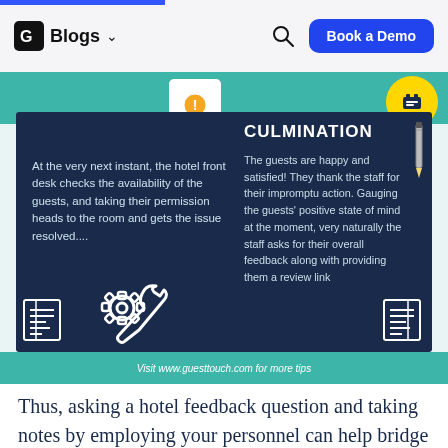Blogs  Book a Demo
[Figure (infographic): Infographic card with dark navy background showing 'CULMINATION' section. Left side: text 'At the very next instant, the hotel front desk checks the availability of the guests, and taking their permission heads to the room and gets the issue resolved....' with gear/wrench icon. Right side: title 'CULMINATION' with pencil icon and text 'The guests are happy and satisfied! They thank the staff for their impromptu action. Gauging the guests' positive state of mind at the moment, very naturally the staff asks for their overall feedback along with providing them a review link'. Teal footer: 'Visit www.guesttouch.com for more tips']
Thus, asking a hotel feedback question and taking notes by employing your personnel can help bridge the gap between your perception of the hotel as